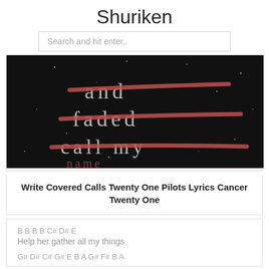Shuriken
Search and hit enter..
[Figure (illustration): Dark background image with white text showing lyrics 'and', 'faded', 'call my' with red brush strokes crossing through them]
Write Covered Calls Twenty One Pilots Lyrics Cancer Twenty One
B B B B C# D# E
Help her gather all my things
G# D# C# G# E B A G# F# B A